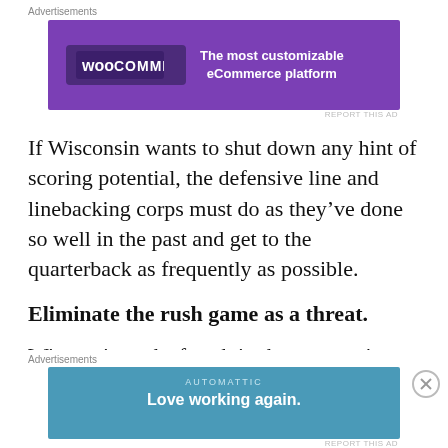Advertisements
[Figure (screenshot): WooCommerce advertisement banner: purple background with WooCommerce logo on left and text 'The most customizable eCommerce platform' on right.]
REPORT THIS AD
If Wisconsin wants to shut down any hint of scoring potential, the defensive line and linebacking corps must do as they’ve done so well in the past and get to the quarterback as frequently as possible.
Eliminate the rush game as a threat.
Wisconsin ranks fourth in the country in
Advertisements
[Figure (screenshot): Automattic advertisement banner: blue background with 'AUTOMATTIC' label and text 'Love working again.']
REPORT THIS AD